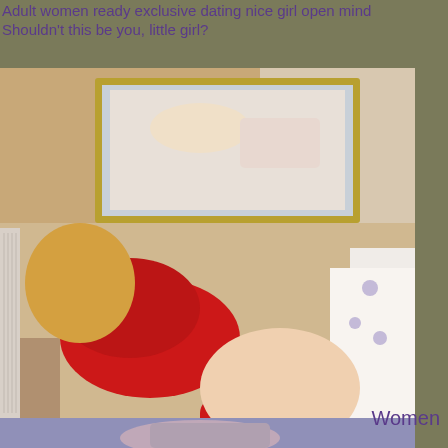Adult women ready exclusive dating nice girl open mind
Shouldn't this be you, little girl?
[Figure (photo): Photo of a woman in red lingerie in a bedroom setting with a mirror on the wall reflecting the bed]
[Figure (photo): Partial photo at bottom of page showing a person]
Women